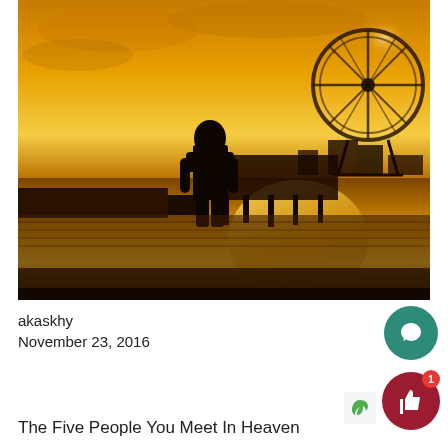[Figure (photo): A silhouette of a person standing on a waterfront at sunset, looking toward a pier with a large ferris wheel and amusement park structures. The scene is bathed in warm orange and golden tones reflected on the water.]
akaskhy
November 23, 2016
The Five People You Meet In Heaven